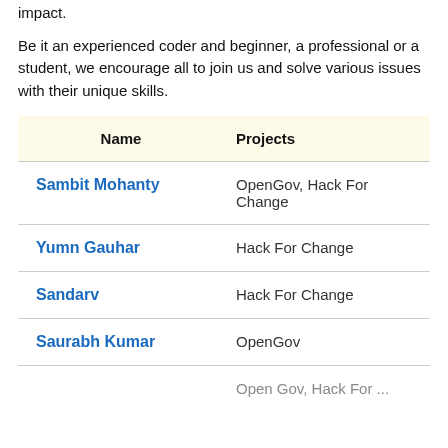impact.
Be it an experienced coder and beginner, a professional or a student, we encourage all to join us and solve various issues with their unique skills.
| Name | Projects |
| --- | --- |
| Sambit Mohanty | OpenGov, Hack For Change |
| Yumn Gauhar | Hack For Change |
| Sandarv | Hack For Change |
| Saurabh Kumar | OpenGov |
|  | Open Gov, Hack For ... |